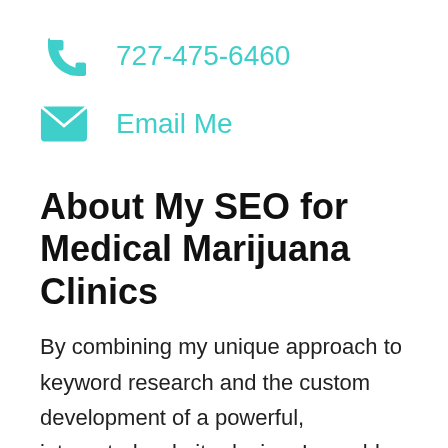727-475-6460
Email Me
About My SEO for Medical Marijuana Clinics
By combining my unique approach to keyword research and the custom development of a powerful, integrated website design, I am able to put research, content, technical SEO for Medical Marijuana Clinics services, and sustained strategic updates to work for